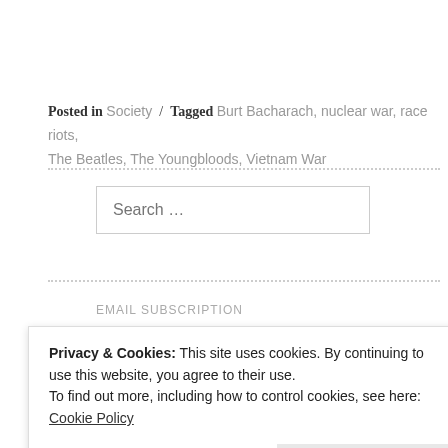Posted in Society / Tagged Burt Bacharach, nuclear war, race riots, The Beatles, The Youngbloods, Vietnam War
Search ...
EMAIL SUBSCRIPTION
Privacy & Cookies: This site uses cookies. By continuing to use this website, you agree to their use.
To find out more, including how to control cookies, see here: Cookie Policy
Close and accept